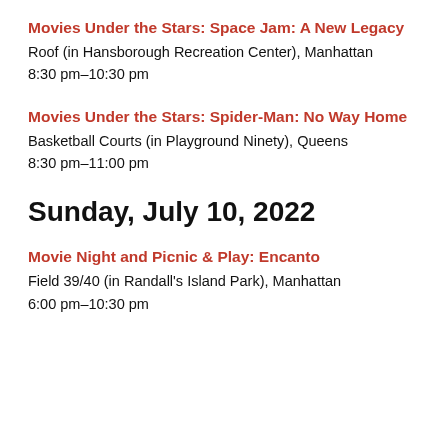Movies Under the Stars: Space Jam: A New Legacy
Roof (in Hansborough Recreation Center), Manhattan
8:30 pm–10:30 pm
Movies Under the Stars: Spider-Man: No Way Home
Basketball Courts (in Playground Ninety), Queens
8:30 pm–11:00 pm
Sunday, July 10, 2022
Movie Night and Picnic & Play: Encanto
Field 39/40 (in Randall's Island Park), Manhattan
6:00 pm–10:30 pm